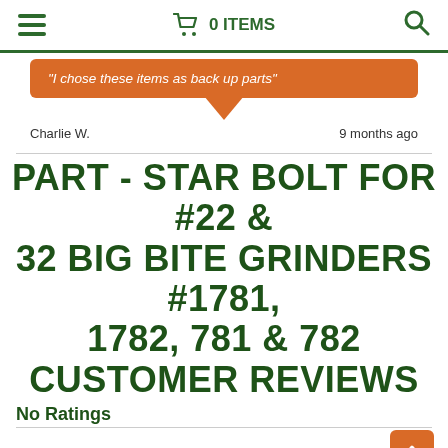0 ITEMS
"I chose these items as back up parts"
Charlie W.    9 months ago
PART - STAR BOLT FOR #22 & 32 BIG BITE GRINDERS #1781, 1782, 781 & 782 CUSTOMER REVIEWS
No Ratings
Be the first to review this item